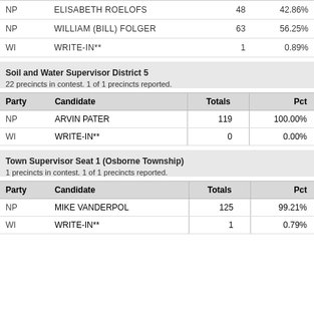| Party | Candidate | Totals | Pct |
| --- | --- | --- | --- |
| NP | ELISABETH ROELOFS | 48 | 42.86% |
| NP | WILLIAM (BILL) FOLGER | 63 | 56.25% |
| WI | WRITE-IN** | 1 | 0.89% |
Soil and Water Supervisor District 5
22 precincts in contest. 1 of 1 precincts reported.
| Party | Candidate | Totals | Pct |
| --- | --- | --- | --- |
| NP | ARVIN PATER | 119 | 100.00% |
| WI | WRITE-IN** | 0 | 0.00% |
Town Supervisor Seat 1 (Osborne Township)
1 precincts in contest. 1 of 1 precincts reported.
| Party | Candidate | Totals | Pct |
| --- | --- | --- | --- |
| NP | MIKE VANDERPOL | 125 | 99.21% |
| WI | WRITE-IN** | 1 | 0.79% |